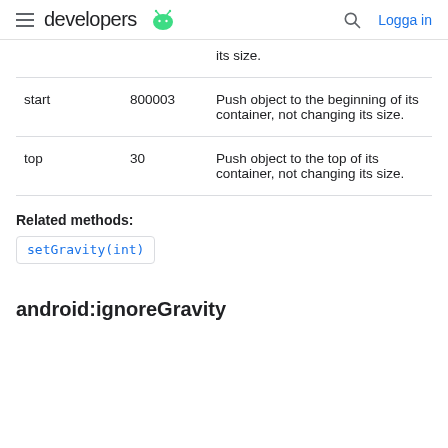developers [Android logo] | Search | Logga in
|  | Value | Description |
| --- | --- | --- |
|  | its size. |  |
| start | 800003 | Push object to the beginning of its container, not changing its size. |
| top | 30 | Push object to the top of its container, not changing its size. |
Related methods:
setGravity(int)
android:ignoreGravity